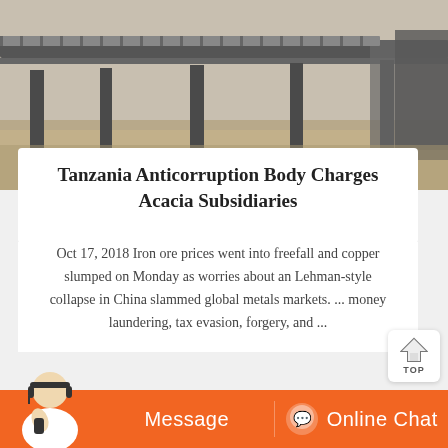[Figure (photo): Industrial conveyor belt or screening equipment with metal framework, photographed outdoors on sandy/dusty ground.]
Tanzania Anticorruption Body Charges Acacia Subsidiaries
Oct 17, 2018 Iron ore prices went into freefall and copper slumped on Monday as worries about an Lehman-style collapse in China slammed global metals markets. ... money laundering, tax evasion, forgery, and ...
[Figure (photo): Industrial mining or crushing machinery with large circular components, photographed outdoors near industrial buildings.]
[Figure (photo): Customer service representative (woman with headset) and orange Message / Online Chat interface buttons at the bottom of the page.]